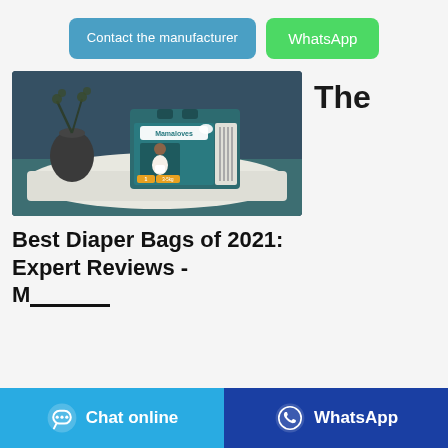[Figure (other): Two call-to-action buttons: 'Contact the manufacturer' (blue) and 'WhatsApp' (green)]
[Figure (photo): Product photo of Mamaloves Baby Diapers box (teal/dark packaging with a baby image, size 1, 3-5kg) placed on a white cloth on a dark teal table, with a dark vase and dried plant in the background. Dark navy/blue-gray background.]
The
Best Diaper Bags of 2021: Expert Reviews - Mamaloveld61
[Figure (other): Bottom bar with 'Chat online' button (light blue) on the left and 'WhatsApp' button (dark blue) on the right, each with an icon]